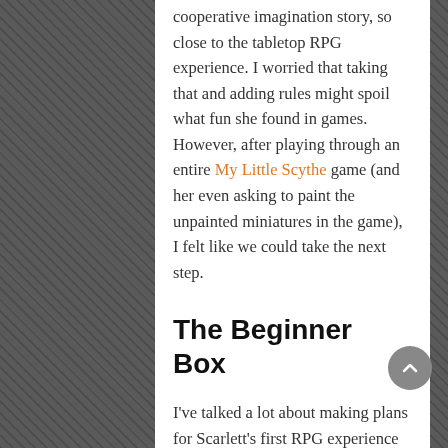cooperative imagination story, so close to the tabletop RPG experience. I worried that taking that and adding rules might spoil what fun she found in games. However, after playing through an entire My Little Scythe game (and her even asking to paint the unpainted miniatures in the game), I felt like we could take the next step.
The Beginner Box
I've talked a lot about making plans for Scarlett's first RPG experience over the last year. Maybe longer. I even bought 9th Level Games' Excellent Princess RPG, The Excellents, thinking that